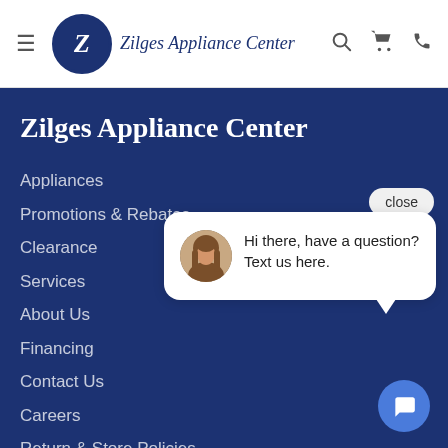Zilges Appliance Center — navigation header with logo, hamburger menu, search, cart, and phone icons
Zilges Appliance Center
Appliances
Promotions & Rebates
Clearance
Services
About Us
Financing
Contact Us
Careers
Return & Store Policies
[Figure (screenshot): Chat widget with close button, avatar of a woman with long brown hair, and message bubble saying 'Hi there, have a question? Text us here.' with a blue chat icon button below.]